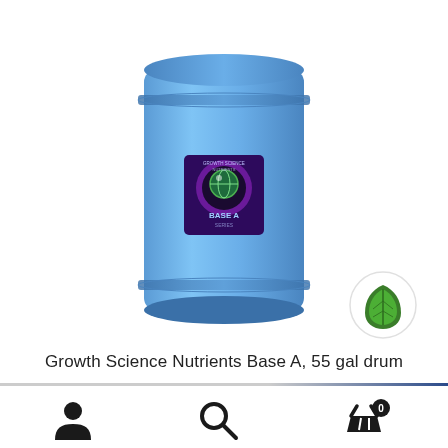[Figure (photo): A large blue 55-gallon plastic drum with a purple and black label showing 'BASE A' and a circular logo with a green globe icon, representing Growth Science Nutrients Base A]
[Figure (logo): Circular eco/organic badge with a green leaf icon on white background]
Growth Science Nutrients Base A, 55 gal drum
[Figure (infographic): Footer navigation icons: person/user icon, search/magnifying glass icon, and shopping basket icon with a badge showing '0']